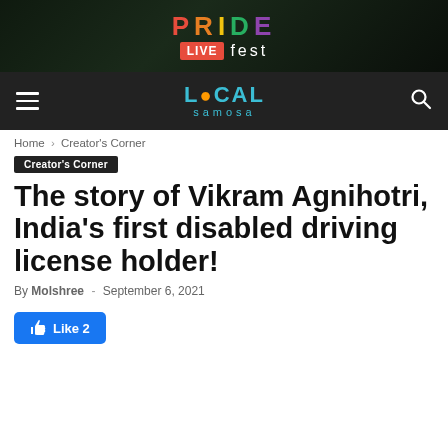[Figure (logo): PRIDE LIVE fest banner on dark background with colorful rainbow-colored PRIDE text and LIVE badge]
[Figure (logo): Local Samosa website navigation bar with hamburger menu, Local Samosa logo in teal/orange, and search icon]
Home > Creator's Corner
Creator's Corner
The story of Vikram Agnihotri, India's first disabled driving license holder!
By Molshree - September 6, 2021
Like 2